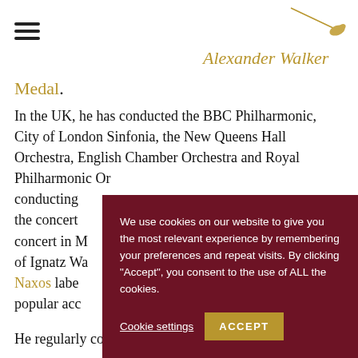[Figure (logo): Alexander Walker conductor logo with golden conductor baton and stylized golden script text 'Alexander Walker']
Medal.
In the UK, he has conducted the BBC Philharmonic, City of London Sinfonia, the New Queens Hall Orchestra, English Chamber Orchestra and Royal Philharmonic Orchestra, conducting ... the concert ... concert in M... of Ignatz Wa... Naxos label ... popular acc...
He regularly conducts the Russian State